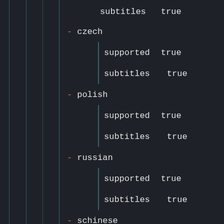subtitles    true
- czech
supported    true
subtitles    true
- polish
supported    true
subtitles    true
- russian
supported    true
subtitles    true
- schinese
subtitles    true
- tchinese
subtitles    true